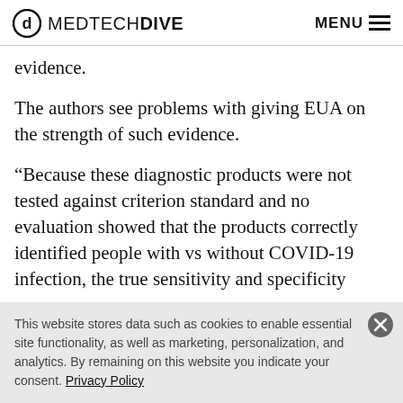MEDTECHDIVE   MENU
evidence.
The authors see problems with giving EUA on the strength of such evidence.
“Because these diagnostic products were not tested against criterion standard and no evaluation showed that the products correctly identified people with vs without COVID-19 infection, the true sensitivity and specificity
This website stores data such as cookies to enable essential site functionality, as well as marketing, personalization, and analytics. By remaining on this website you indicate your consent. Privacy Policy